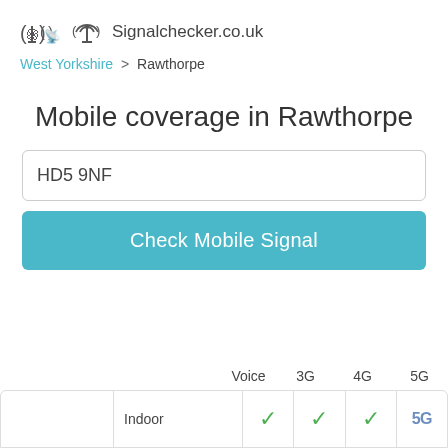Signalchecker.co.uk
West Yorkshire > Rawthorpe
Mobile coverage in Rawthorpe
HD5 9NF
Check Mobile Signal
|  | Indoor/Outdoor | Voice | 3G | 4G | 5G |
| --- | --- | --- | --- | --- | --- |
|  | Indoor | ✓ | ✓ | ✓ | 5G |